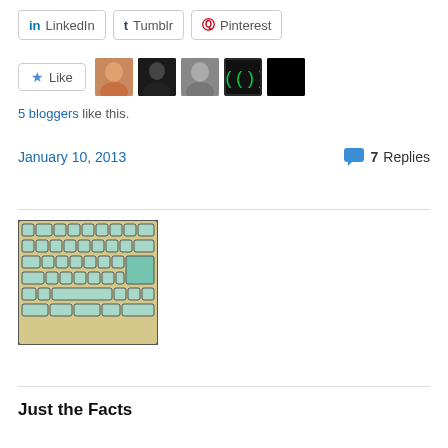[Figure (other): Social share buttons: LinkedIn, Tumblr, Pinterest]
[Figure (other): Like button with 5 blogger avatar thumbnails]
5 bloggers like this.
January 10, 2013
7 Replies
[Figure (illustration): Illustration of a keyboard with teal/light blue keys on a beige background]
Just the Facts